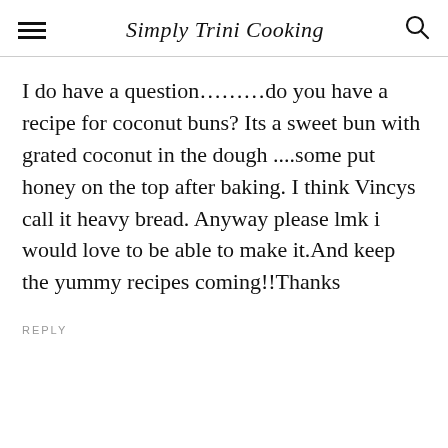Simply Trini Cooking
I do have a question………do you have a recipe for coconut buns? Its a sweet bun with grated coconut in the dough ....some put honey on the top after baking. I think Vincys call it heavy bread. Anyway please lmk i would love to be able to make it.And keep the yummy recipes coming!!Thanks
REPLY